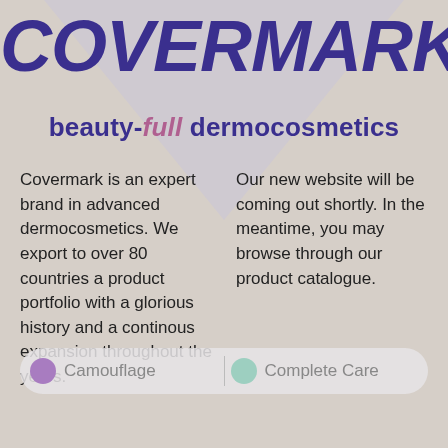[Figure (logo): Covermark logo in bold dark blue italic text with registered trademark symbol]
beauty-full dermocosmetics
Covermark is an expert brand in advanced dermocosmetics. We export to over 80 countries a product portfolio with a glorious history and a continous expansion throughout the years.
Our new website will be coming out shortly. In the meantime, you may browse through our product catalogue.
[Figure (infographic): Navigation button bar with two options: Camouflage (purple dot) and Complete Care (mint dot)]